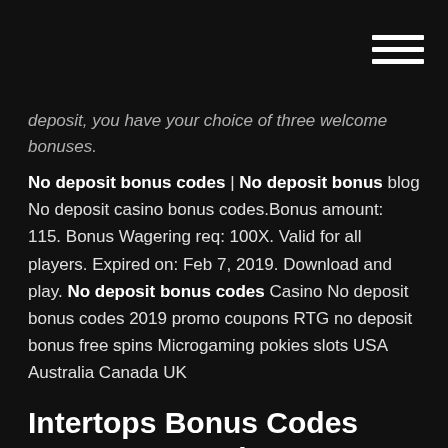[navigation bar with hamburger menu]
deposit, you have your choice of three welcome bonuses.
No deposit bonus codes | No deposit bonus blog No deposit casino bonus codes.Bonus amount: 115. Bonus Wagering req: 100X. Valid for all players. Expired on: Feb 7, 2019. Download and play. No deposit bonus codes Casino No deposit bonus codes 2019 promo coupons RTG no deposit bonus free spins Microgaming pokies slots USA Australia Canada UK
Intertops Bonus Codes 2019 – Free Spins & No Deposit Bonus Codes. Founded in 1983 and online since 1996, Intertops is one of the pioneers of online